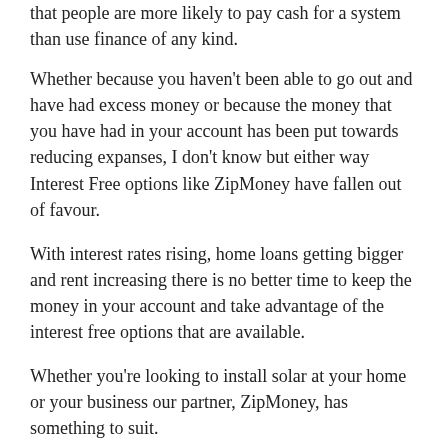that people are more likely to pay cash for a system than use finance of any kind.
Whether because you haven't been able to go out and have had excess money or because the money that you have had in your account has been put towards reducing expanses, I don't know but either way Interest Free options like ZipMoney have fallen out of favour.
With interest rates rising, home loans getting bigger and rent increasing there is no better time to keep the money in your account and take advantage of the interest free options that are available.
Whether you're looking to install solar at your home or your business our partner, ZipMoney, has something to suit.
For an initial system price of $6000 your repayments would only be $25.30 per week.
What happens with an application?